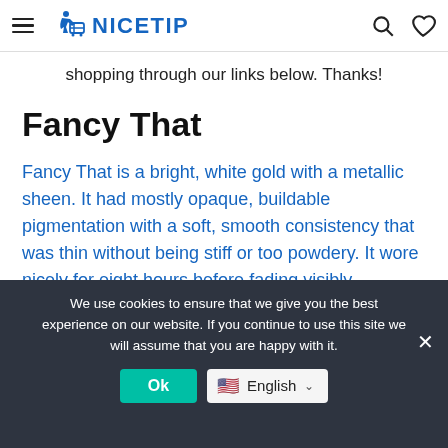NICETIP
shopping through our links below. Thanks!
Fancy That
Fancy That is a bright, white gold with a metallic sheen. It had mostly opaque, buildable pigmentation with a soft, smooth consistency that was thin without being stiff or too powdery. It wore nicely for eight hours before fading visibly.
We use cookies to ensure that we give you the best experience on our website. If you continue to use this site we will assume that you are happy with it.